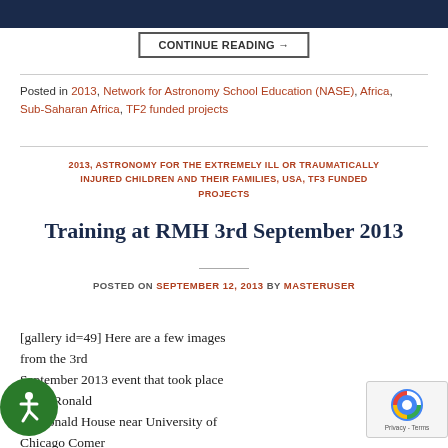CONTINUE READING →
Posted in 2013, Network for Astronomy School Education (NASE), Africa, Sub-Saharan Africa, TF2 funded projects
2013, ASTRONOMY FOR THE EXTREMELY ILL OR TRAUMATICALLY INJURED CHILDREN AND THEIR FAMILIES, USA, TF3 FUNDED PROJECTS
Training at RMH 3rd September 2013
POSTED ON SEPTEMBER 12, 2013 BY MASTERUSER
[gallery id=49] Here are a few images from the 3rd September 2013 event that took place at the Ronald McDonald House near University of Chicago Comer Children's Hospital. The project leader, Dr. David